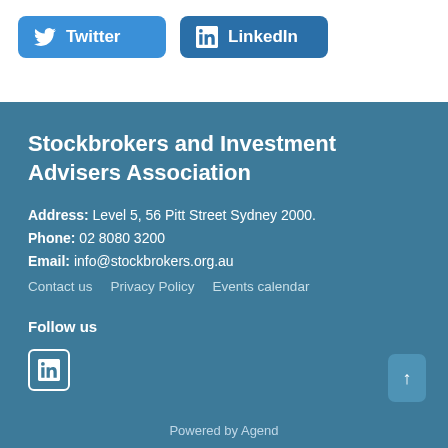[Figure (other): Twitter social media button with bird icon and text 'Twitter']
[Figure (other): LinkedIn social media button with LinkedIn icon and text 'LinkedIn']
Stockbrokers and Investment Advisers Association
Address: Level 5, 56 Pitt Street Sydney 2000.
Phone: 02 8080 3200
Email: info@stockbrokers.org.au
Contact us    Privacy Policy    Events calendar
Follow us
[Figure (logo): LinkedIn square icon]
Powered by Agend